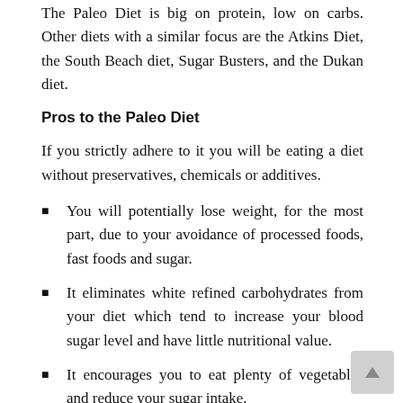The Paleo Diet is big on protein, low on carbs. Other diets with a similar focus are the Atkins Diet, the South Beach diet, Sugar Busters, and the Dukan diet.
Pros to the Paleo Diet
If you strictly adhere to it you will be eating a diet without preservatives, chemicals or additives.
You will potentially lose weight, for the most part, due to your avoidance of processed foods, fast foods and sugar.
It eliminates white refined carbohydrates from your diet which tend to increase your blood sugar level and have little nutritional value.
It encourages you to eat plenty of vegetables and reduce your sugar intake.